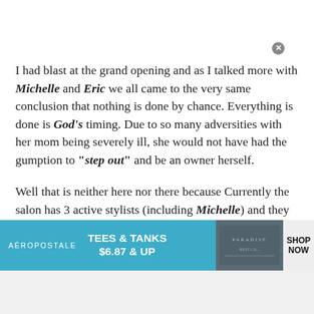I had blast at the grand opening and as I talked more with Michelle and Eric we all came to the very same conclusion that nothing is done by chance.  Everything is done is God's timing.  Due to so many adversities with her mom being severely ill, she would not  have had the gumption to “step out” and be an owner herself.
Well that is neither here nor there because  Currently the salon has 3 active stylists (including Michelle) and they are all so very excited for her and are looking forward to bigger
[Figure (infographic): Aeropostale advertisement banner: teal/blue background on left with AEROPOSTALE logo and TEES & TANKS $6.87 & UP promotional text in white bold font, center image of folded clothing items, right side shows SHOP NOW text on light background.]